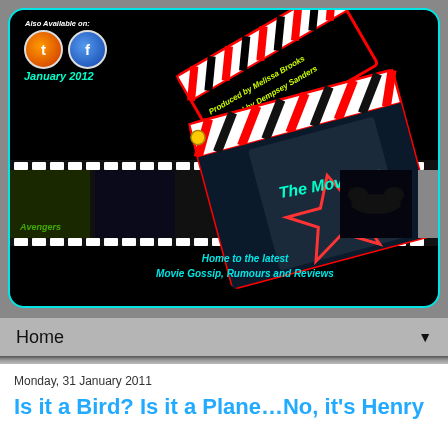[Figure (screenshot): Movie blog banner with black background, teal border, clapperboard graphic, film strip with movie thumbnails, social media icons, January 2012 text, and tagline 'Home to the latest Movie Gossip, Rumours and Reviews']
Also Available on:
January 2012
Home to the latest Movie Gossip, Rumours and Reviews
Home ▼
Monday, 31 January 2011
Is it a Bird? Is it a Plane…No, it's Henry